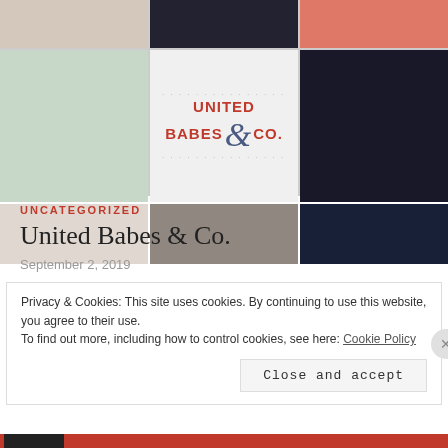[Figure (photo): A photo collage grid showing multiple women pointing upward, with a United Babes & Co. logo in the center cell]
UNCATEGORIZED
United Babes & Co.
September 2, 2019
Privacy & Cookies: This site uses cookies. By continuing to use this website, you agree to their use.
To find out more, including how to control cookies, see here: Cookie Policy
Close and accept